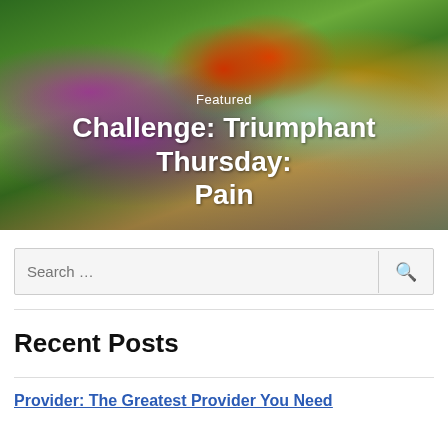[Figure (photo): A colorful garden scene with green trees, red and orange flowering plants, purple flowers, lavender, and a paved pathway through the garden beds.]
Featured
Challenge: Triumphant Thursday: Pain
Search …
Recent Posts
Provider: The Greatest Provider You Need